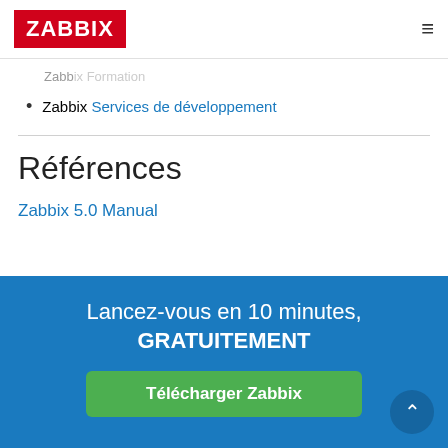ZABBIX
Zabbix Formation
Zabbix Services de développement
Références
Zabbix 5.0 Manual
Lancez-vous en 10 minutes, GRATUITEMENT
Télécharger Zabbix